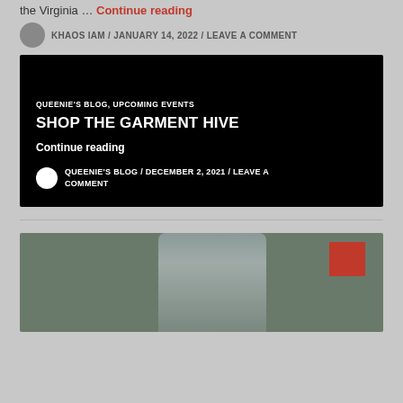the Virginia … Continue reading
KHAOS IAM / JANUARY 14, 2022 / LEAVE A COMMENT
[Figure (screenshot): Black card with blog post: QUEENIE'S BLOG, UPCOMING EVENTS / SHOP THE GARMENT HIVE / Continue reading / QUEENIE'S BLOG / DECEMBER 2, 2021 / LEAVE A COMMENT]
[Figure (photo): Person wearing graduation cap, partial face visible, green/teal background with red square]